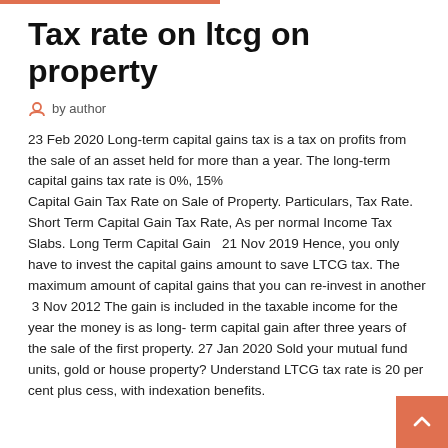Tax rate on ltcg on property
by author
23 Feb 2020 Long-term capital gains tax is a tax on profits from the sale of an asset held for more than a year. The long-term capital gains tax rate is 0%, 15% Capital Gain Tax Rate on Sale of Property. Particulars, Tax Rate. Short Term Capital Gain Tax Rate, As per normal Income Tax Slabs. Long Term Capital Gain   21 Nov 2019 Hence, you only have to invest the capital gains amount to save LTCG tax. The maximum amount of capital gains that you can re-invest in another  3 Nov 2012 The gain is included in the taxable income for the year the money is as long- term capital gain after three years of the sale of the first property. 27 Jan 2020 Sold your mutual fund units, gold or house property? Understand LTCG tax rate is 20 per cent plus cess, with indexation benefits.